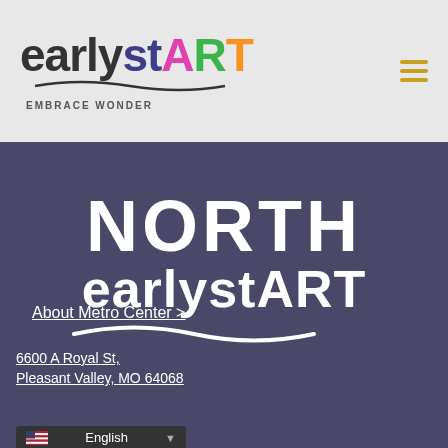[Figure (logo): earlystART EMBRACE WONDER logo with colorful letters on light gray header bar]
About Metro Center >
[Figure (logo): NORTH earlystART large white text logo on dark purple-blue background]
6600 A Royal St,
Pleasant Valley, MO 64068
(816) 527-9560
English